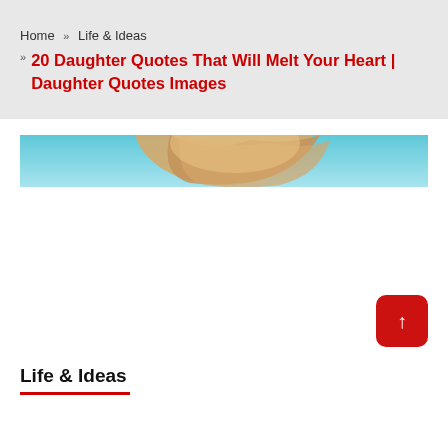Home » Life & Ideas » 20 Daughter Quotes That Will Melt Your Heart | Daughter Quotes Images
[Figure (photo): Partial view of a person with light/blonde hair against a light blue sky background, shown as a banner/header image]
Life & Ideas